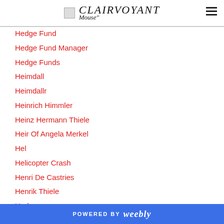CLAIRVOYANT
Hedge Fund
Hedge Fund Manager
Hedge Funds
Heimdall
Heimdallr
Heinrich Himmler
Heinz Hermann Thiele
Heir Of Angela Merkel
Hel
Helicopter Crash
Henri De Castries
Henrik Thiele
Herbs
Hermes Trismegistus
Hermod
POWERED BY weebly